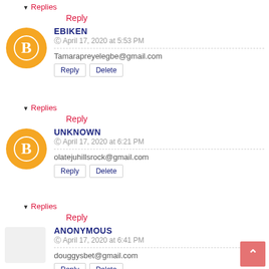▾ Replies
Reply
EBIKEN
© April 17, 2020 at 5:53 PM
Tamarapreyelegbe@gmail.com
Reply | Delete
▾ Replies
Reply
UNKNOWN
© April 17, 2020 at 6:21 PM
olatejuhillsrock@gmail.com
Reply | Delete
▾ Replies
Reply
ANONYMOUS
© April 17, 2020 at 6:41 PM
douggysbet@gmail.com
Reply | Delete